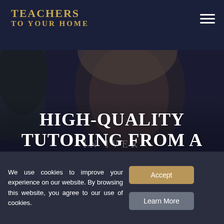TEACHERS TO YOUR HOME
[Figure (photo): Blurred close-up photo of a young student boy with blonde hair, looking down, against a dark blue-grey background. Dark overlay applied.]
HIGH-QUALITY TUTORING FROM A QUALIFIED TEACHER
We use cookies to improve your experience on our website. By browsing this website, you agree to our use of cookies.